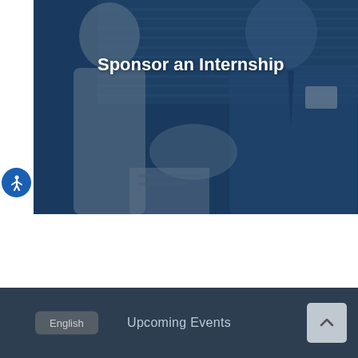[Figure (photo): Two people shaking hands in an office/educational setting, with a blue overlay. A woman in white on the left and a man in a blue shirt and tie on the right. The image has a dark blue tint overlay.]
Sponsor an Internship
English    Upcoming Events